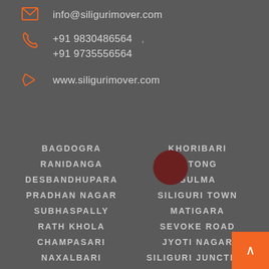info@siligurimover.com
+91 9830486564
+91 9735556564
www.siligurimover.com
BAGDOGRA
KHORIBARI
RANIDANGA
SITONG
DESBANDHUPARA
GULMA
PRADHAN NAGAR
SILIGURI TOWN
SUBHASPALLY
MATIGARA
RATH KHOLA
SEVOKE ROAD
CHAMPASARI
JYOTI NAGAR
NAXALBARI
SILIGURI JUNCTION
NEW CHUMTA
PHANSIDEWA